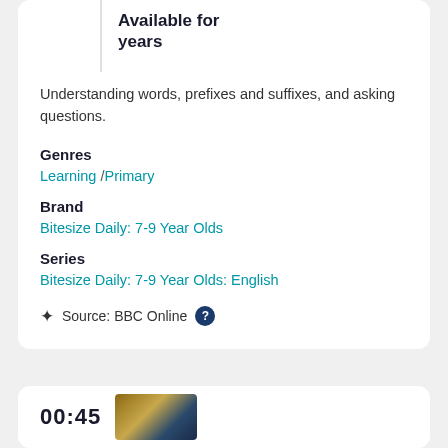Available for years
Understanding words, prefixes and suffixes, and asking questions.
Genres
Learning / Primary
Brand
Bitesize Daily: 7-9 Year Olds
Series
Bitesize Daily: 7-9 Year Olds: English
Source: BBC Online ?